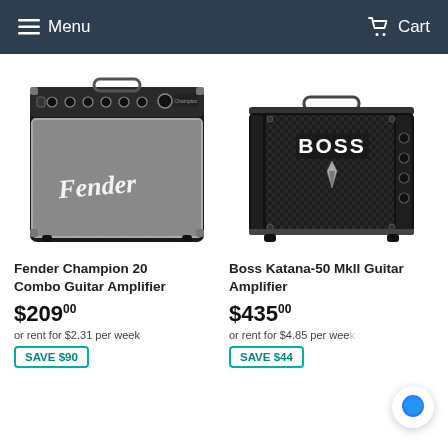Menu  Cart
[Figure (photo): Fender Champion 20 Combo Guitar Amplifier - black and silver combo amp with Fender script logo on grille]
Fender Champion 20 Combo Guitar Amplifier
$209.00
or rent for $2.31 per week
SAVE $90
[Figure (photo): Boss Katana-50 MkII Guitar Amplifier - black compact combo amp with BOSS logo]
Boss Katana-50 MkII Guitar Amplifier
$435.00
or rent for $4.85 per week
SAVE $44